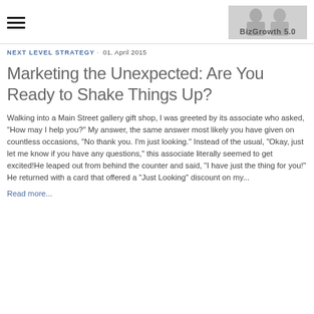BizGrowth 5.0
NEXT LEVEL STRATEGY · 01. April 2015
Marketing the Unexpected: Are You Ready to Shake Things Up?
Walking into a Main Street gallery gift shop, I was greeted by its associate who asked, "How may I help you?" My answer, the same answer most likely you have given on countless occasions, "No thank you. I'm just looking." Instead of the usual, "Okay, just let me know if you have any questions," this associate literally seemed to get excited!He leaped out from behind the counter and said, "I have just the thing for you!" He returned with a card that offered a "Just Looking" discount on my...
Read more...